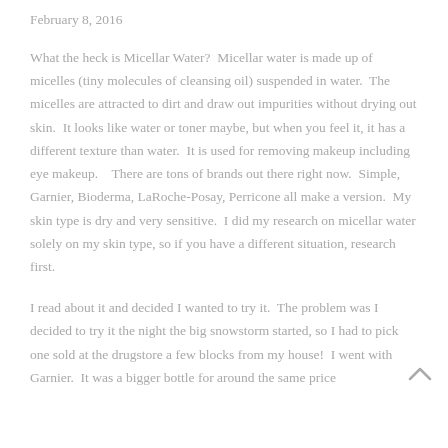February 8, 2016
What the heck is Micellar Water?  Micellar water is made up of micelles (tiny molecules of cleansing oil) suspended in water.  The micelles are attracted to dirt and draw out impurities without drying out skin.  It looks like water or toner maybe, but when you feel it, it has a different texture than water.  It is used for removing makeup including eye makeup.    There are tons of brands out there right now.  Simple, Garnier, Bioderma, LaRoche-Posay, Perricone all make a version.  My skin type is dry and very sensitive.  I did my research on micellar water solely on my skin type, so if you have a different situation, research first.
I read about it and decided I wanted to try it.  The problem was I decided to try it the night the big snowstorm started, so I had to pick one sold at the drugstore a few blocks from my house!  I went with Garnier.  It was a bigger bottle for around the same price